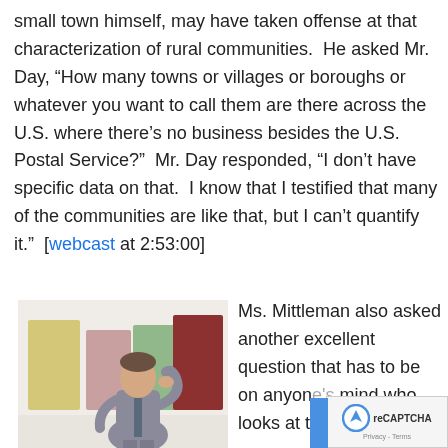small town himself, may have taken offense at that characterization of rural communities.  He asked Mr. Day, “How many towns or villages or boroughs or whatever you want to call them are there across the U.S. where there’s no business besides the U.S. Postal Service?”  Mr. Day responded, “I don’t have specific data on that.  I know that I testified that many of the communities are like that, but I can’t quantify it.”  [webcast at 2:53:00]
[Figure (photo): A man in a grey suit standing in a thinking pose with his hand on his chin, in front of colorful doors (yellow, pink, green, red)]
Ms. Mittleman also asked another excellent question that has to be on anyone’s mind who looks at the four options.